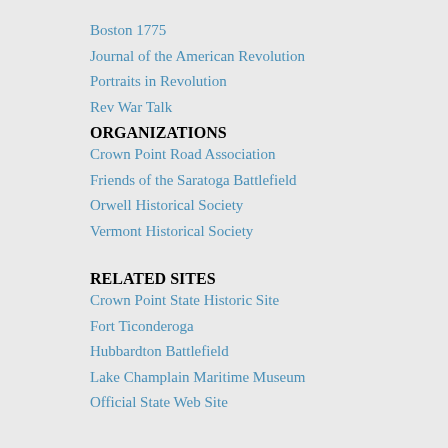Boston 1775
Journal of the American Revolution
Portraits in Revolution
Rev War Talk
ORGANIZATIONS
Crown Point Road Association
Friends of the Saratoga Battlefield
Orwell Historical Society
Vermont Historical Society
RELATED SITES
Crown Point State Historic Site
Fort Ticonderoga
Hubbardton Battlefield
Lake Champlain Maritime Museum
Official State Web Site